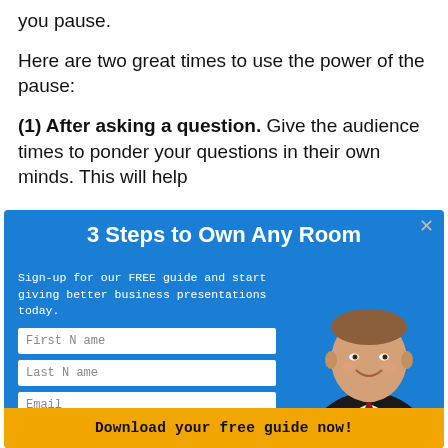you pause.
Here are two great times to use the power of the pause:
(1) After asking a question. Give the audience times to ponder your questions in their own minds. This will help
[Figure (other): Modal popup overlay with blue background titled '3 Steps to Own Any Room'. Contains sign-up form with First Name, Last Name, Email fields, a photo of a smiling man in a dark suit and red tie, and a gold 'Download your free guide now!' button.]
3 Steps to Own Any Room
Sign-up for our FREE guide and start giving better business presentations today.
First Name
Last Name
Email
Download your free guide now!